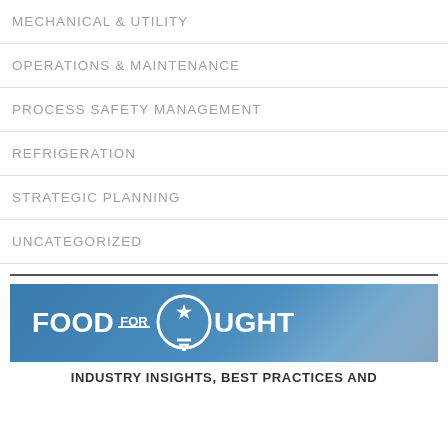MECHANICAL & UTILITY
OPERATIONS & MAINTENANCE
PROCESS SAFETY MANAGEMENT
REFRIGERATION
STRATEGIC PLANNING
UNCATEGORIZED
[Figure (logo): Food For Thought banner logo with light bulb icon and text 'FOOD FOR THOUGHT']
INDUSTRY INSIGHTS, BEST PRACTICES AND